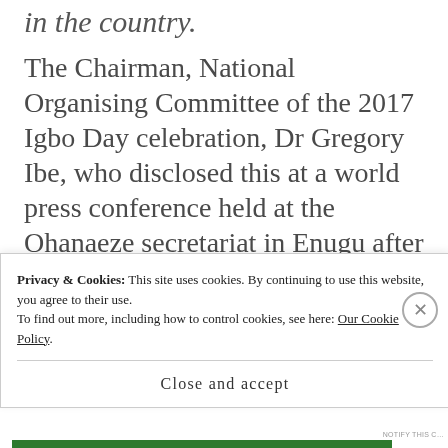in the country.
The Chairman, National Organising Committee of the 2017 Igbo Day celebration, Dr Gregory Ibe, who disclosed this at a world press conference held at the Ohanaeze secretariat in Enugu after the inauguration of the committee, said they have lined up several church activities for the one-week long
Privacy & Cookies: This site uses cookies. By continuing to use this website, you agree to their use.
To find out more, including how to control cookies, see here: Our Cookie Policy
Close and accept